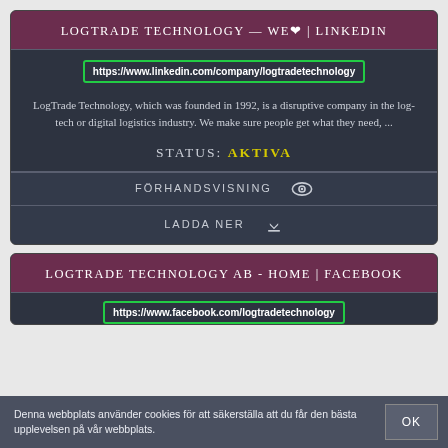LOGTRADE TECHNOLOGY — WE❤ | LINKEDIN
https://www.linkedin.com/company/logtradetechnology
LogTrade Technology, which was founded in 1992, is a disruptive company in the log-tech or digital logistics industry. We make sure people get what they need, ...
STATUS: AKTIVA
FÖRHANDSVISNING 👁
LADDA NER ⬇
LOGTRADE TECHNOLOGY AB - HOME | FACEBOOK
https://www.facebook.com/logtradetechnology
Denna webbplats använder cookies för att säkerställa att du får den bästa upplevelsen på vår webbplats.